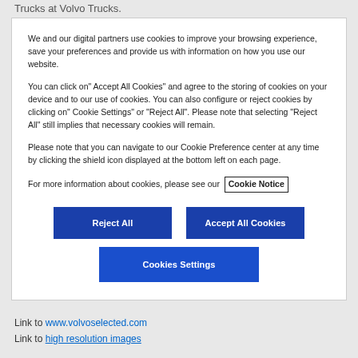Trucks at Volvo Trucks.
We and our digital partners use cookies to improve your browsing experience, save your preferences and provide us with information on how you use our website.
You can click on" Accept All Cookies" and agree to the storing of cookies on your device and to our use of cookies. You can also configure or reject cookies by clicking on" Cookie Settings" or "Reject All". Please note that selecting "Reject All" still implies that necessary cookies will remain.
Please note that you can navigate to our Cookie Preference center at any time by clicking the shield icon displayed at the bottom left on each page.
For more information about cookies, please see our Cookie Notice
Reject All
Accept All Cookies
Cookies Settings
Link to www.volvoselected.com
Link to high resolution images